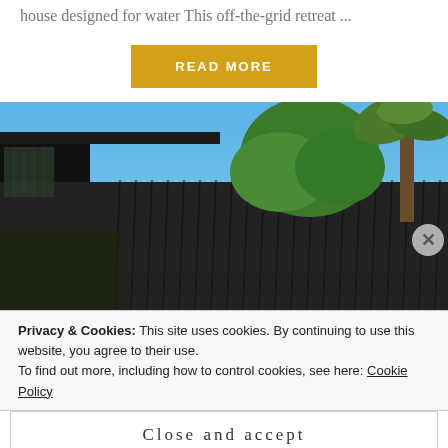house designed for water This off-the-grid retreat ...
READ MORE
[Figure (photo): Exterior view of a modern dark-clad building with vertical metal fins/louvers, surrounded by green trees including a palm tree, set against a clear blue sky.]
Privacy & Cookies: This site uses cookies. By continuing to use this website, you agree to their use.
To find out more, including how to control cookies, see here: Cookie Policy
Close and accept
NEXT: THE A...